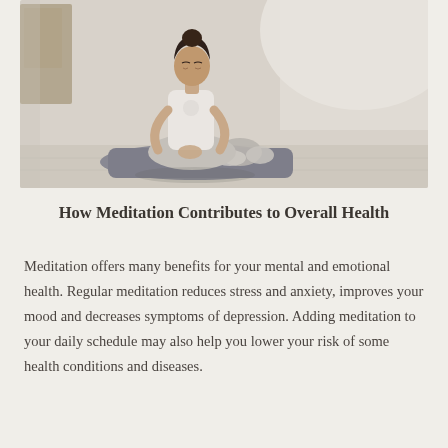[Figure (photo): Woman meditating in lotus position on a gray yoga mat on a light wood floor, wearing white tank top and light gray pants, hair in a bun, eyes closed, hands resting on knees, in a minimalist indoor setting with natural light.]
How Meditation Contributes to Overall Health
Meditation offers many benefits for your mental and emotional health. Regular meditation reduces stress and anxiety, improves your mood and decreases symptoms of depression. Adding meditation to your daily schedule may also help you lower your risk of some health conditions and diseases.